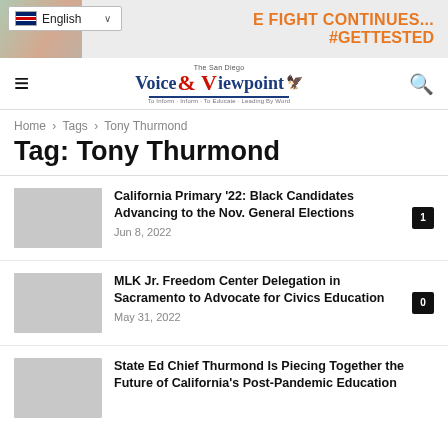[Figure (other): Banner advertisement with photo of couple and text 'THE FIGHT CONTINUES... #GETTESTED' in orange]
[Figure (logo): Voice & Viewpoint newspaper logo with hamburger menu and search icon]
Home › Tags › Tony Thurmond
Tag: Tony Thurmond
California Primary '22: Black Candidates Advancing to the Nov. General Elections
Jun 8, 2022
MLK Jr. Freedom Center Delegation in Sacramento to Advocate for Civics Education
May 31, 2022
State Ed Chief Thurmond Is Piecing Together the Future of California's Post-Pandemic Education